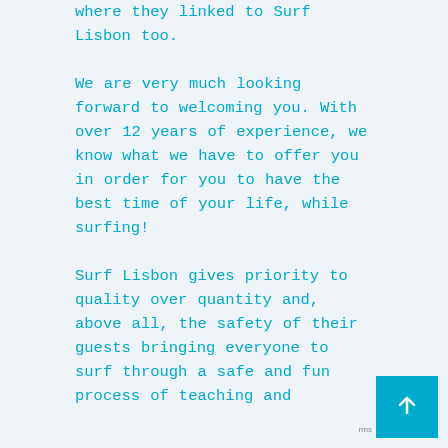where they linked to Surf Lisbon too.

We are very much looking forward to welcoming you. With over 12 years of experience, we know what we have to offer you in order for you to have the best time of your life, while surfing!

Surf Lisbon gives priority to quality over quantity and, above all, the safety of their guests bringing everyone to surf through a safe and fun process of teaching and